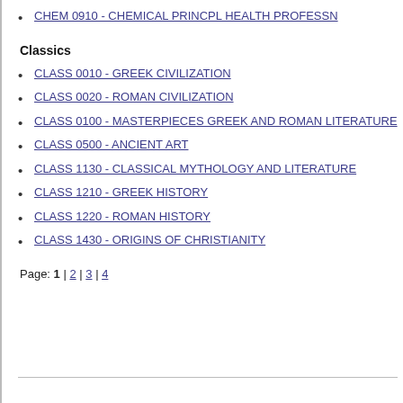CHEM 0910 - CHEMICAL PRINCPL HEALTH PROFESSN
Classics
CLASS 0010 - GREEK CIVILIZATION
CLASS 0020 - ROMAN CIVILIZATION
CLASS 0100 - MASTERPIECES GREEK AND ROMAN LITERATURE
CLASS 0500 - ANCIENT ART
CLASS 1130 - CLASSICAL MYTHOLOGY AND LITERATURE
CLASS 1210 - GREEK HISTORY
CLASS 1220 - ROMAN HISTORY
CLASS 1430 - ORIGINS OF CHRISTIANITY
Page: 1 | 2 | 3 | 4